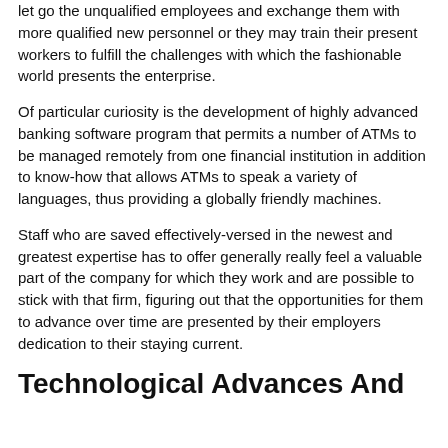let go the unqualified employees and exchange them with more qualified new personnel or they may train their present workers to fulfill the challenges with which the fashionable world presents the enterprise.
Of particular curiosity is the development of highly advanced banking software program that permits a number of ATMs to be managed remotely from one financial institution in addition to know-how that allows ATMs to speak a variety of languages, thus providing a globally friendly machines.
Staff who are saved effectively-versed in the newest and greatest expertise has to offer generally really feel a valuable part of the company for which they work and are possible to stick with that firm, figuring out that the opportunities for them to advance over time are presented by their employers dedication to their staying current.
Technological Advances And